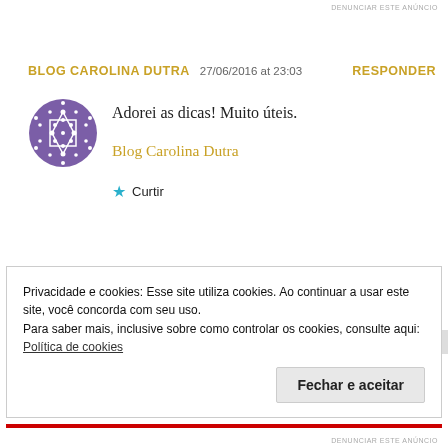DENUNCIAR ESTE ANÚNCIO
BLOG CAROLINA DUTRA   27/06/2016 at 23:03   RESPONDER
Adorei as dicas! Muito úteis.
Blog Carolina Dutra
★ Curtir
Privacidade e cookies: Esse site utiliza cookies. Ao continuar a usar este site, você concorda com seu uso.
Para saber mais, inclusive sobre como controlar os cookies, consulte aqui: Política de cookies
Fechar e aceitar
DENUNCIAR ESTE ANÚNCIO